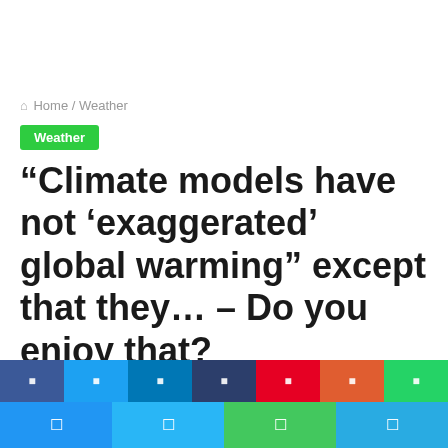Home / Weather
Weather
“Climate models have not ‘exaggerated’ global warming” except that they… – Do you enjoy that?
news7g · 05/10/2022 ☐ 0 ☐ 6 ☐ 2 minutes read